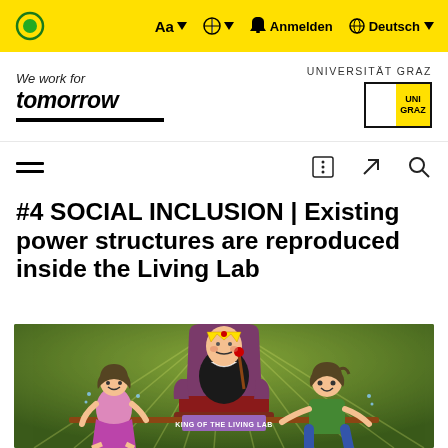Aa  Anmelden  Deutsch
[Figure (logo): We work for tomorrow / Universität Graz logos and navigation header]
#4 SOCIAL INCLUSION | Existing power structures are reproduced inside the Living Lab
[Figure (illustration): Cartoon illustration of a king sitting on a throne labeled 'KING OF THE LIVING LAB' being carried by two struggling people]